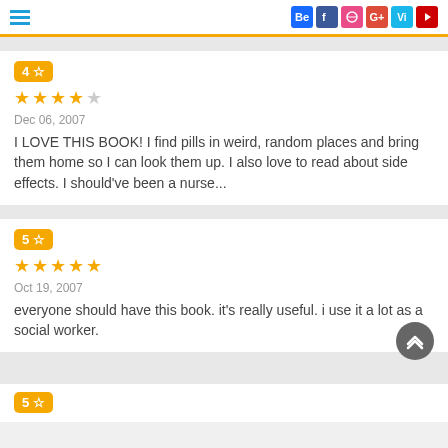Social media icons header with hamburger menu
4 ☆ Dec 06, 2007 I LOVE THIS BOOK! I find pills in weird, random places and bring them home so I can look them up. I also love to read about side effects. I should've been a nurse...
5 ☆ Oct 19, 2007 everyone should have this book. it's really useful. i use it a lot as a social worker.
5 ☆